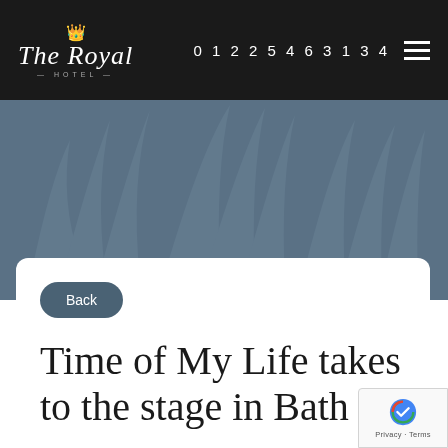The Royal Hotel — 01225 463 134
[Figure (illustration): Decorative hero banner with stylized crown/floral pattern watermark on steel blue background]
Back
Time of My Life takes to the stage in Bath